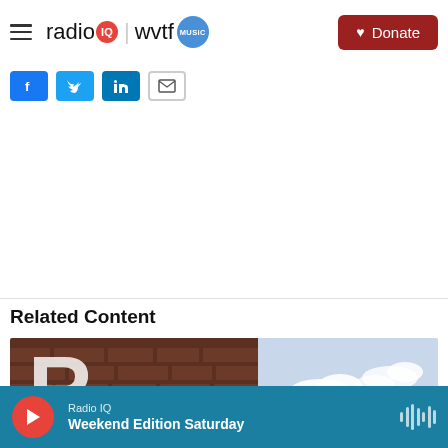radio IQ | wvtf MUSIC — Donate
[Figure (screenshot): Social share buttons: Facebook, Twitter, LinkedIn, Email]
Related Content
[Figure (photo): Brick building with large white letters, partially visible against a cloudy sky]
Radio IQ — Weekend Edition Saturday (audio player bar)